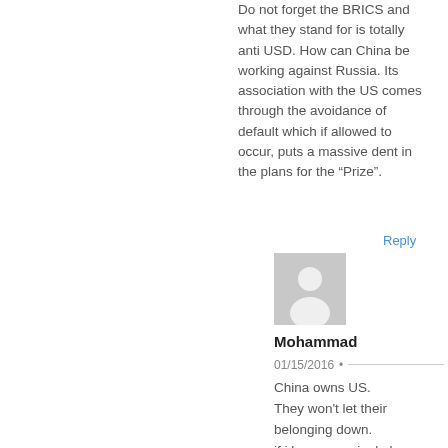Do not forget the BRICS and what they stand for is totally anti USD. How can China be working against Russia. Its association with the US comes through the avoidance of default which if allowed to occur, puts a massive dent in the plans for the “Prize”.
Reply
[Figure (illustration): Generic user avatar placeholder - grey silhouette of a person on grey background]
Mohammad
01/15/2016
China owns US.
They won't let their belonging down.
if i have one single hope that this country may